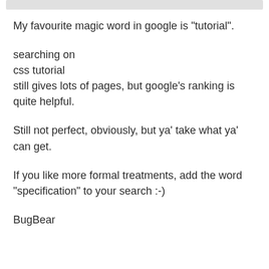My favourite magic word in google is "tutorial".
searching on
css tutorial
still gives lots of pages, but google's ranking is quite helpful.
Still not perfect, obviously, but ya' take what ya' can get.
If you like more formal treatments, add the word "specification" to your search :-)
BugBear